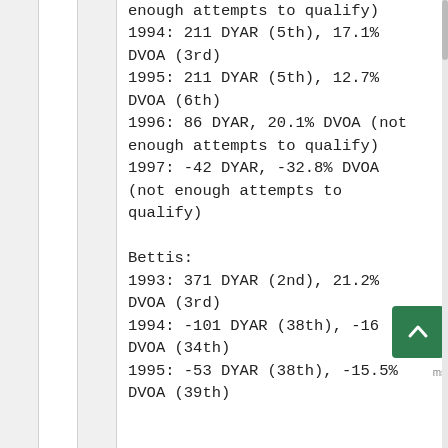enough attempts to qualify)
1994: 211 DYAR (5th), 17.1% DVOA (3rd)
1995: 211 DYAR (5th), 12.7% DVOA (6th)
1996: 86 DYAR, 20.1% DVOA (not enough attempts to qualify)
1997: -42 DYAR, -32.8% DVOA (not enough attempts to qualify)

Bettis:
1993: 371 DYAR (2nd), 21.2% DVOA (3rd)
1994: -101 DYAR (38th), -16? DVOA (34th)
1995: -53 DYAR (38th), -15.5% DVOA (39th)